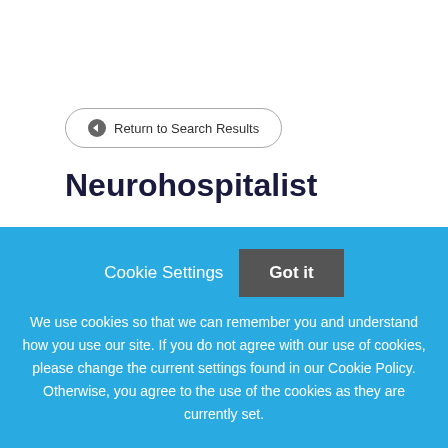Return to Search Results
Neurohospitalist
Discover Your Career at Emory UniversityEmory University is a leading research university that fosters excellence
Cookie Settings
Got it
We use cookies so that we can remember you and understand how you use our site. If you do not agree with our use of cookies, please change the current settings found in our Cookie Policy. Otherwise, you agree to the use of the cookies as they are currently set.